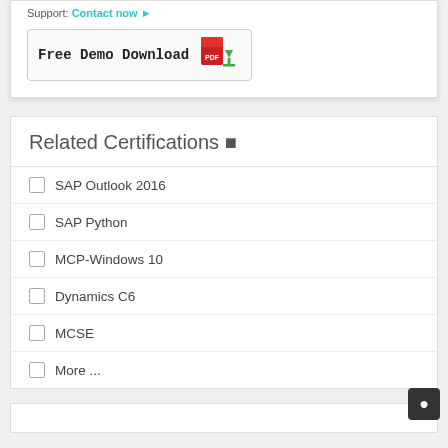Support: Contact now ▶
[Figure (other): Free Demo Download button with PDF icon and download arrow]
Related Certifications ▶
SAP Outlook 2016
SAP Python
MCP-Windows 10
Dynamics C6
MCSE
More ...